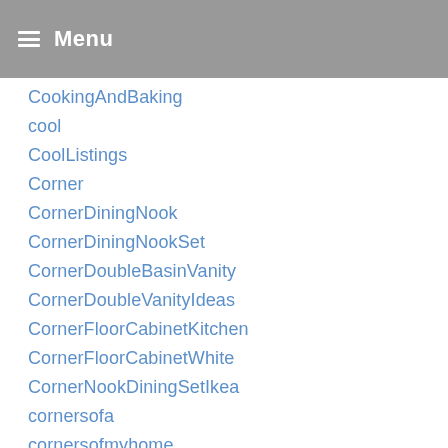Menu
CookingAndBaking
cool
CoolListings
Corner
CornerDiningNook
CornerDiningNookSet
CornerDoubleBasinVanity
CornerDoubleVanityIdeas
CornerFloorCabinetKitchen
CornerFloorCabinetWhite
CornerNookDiningSetIkea
cornersofa
cornersofmyhome
CornerTvStand
CornerTvUnit
Cornervanity